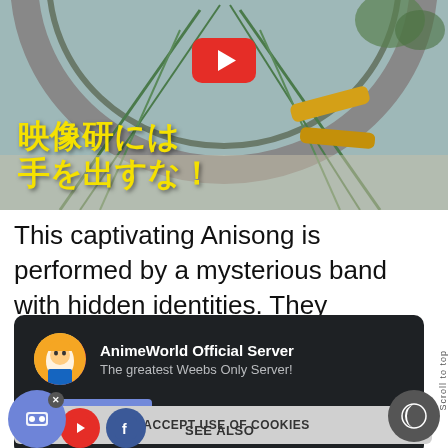[Figure (screenshot): Anime thumbnail showing a circular architectural structure with cables/wires, golden mechanical arms/tools, with yellow Japanese text overlay reading 映像研には手を出すな! and a YouTube play button in the center top]
This captivating Anisong is performed by a mysterious band with hidden identities. They ... n music ... ent. Lyrics ... antic pace ... l "feel
[Figure (screenshot): Discord server popup overlay with dark background showing AnimeWorld Official Server with avatar, tagline 'The greatest Weebs Only Server!' and a Join Now button]
[Figure (screenshot): Cookie consent bar reading I ACCEPT USE OF COOKIES, with social media icons (Discord, YouTube, Facebook), a night mode button, and SEE ALSO text at bottom]